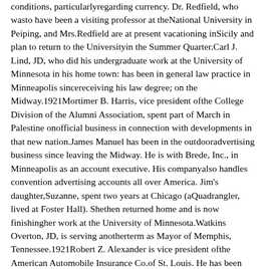conditions, particularlyregarding currency. Dr. Redfield, who wasto have been a visiting professor at theNational University in Peiping, and Mrs.Redfield are at present vacationing inSicily and plan to return to the Universityin the Summer Quarter.Carl J. Lind, JD, who did his undergraduate work at the University of Minnesota in his home town: has been in general law practice in Minneapolis sincereceiving his law degree; on the Midway.1921Mortimer B. Harris, vice president ofthe College Division of the Alumni Association, spent part of March in Palestine onofficial business in connection with developments in that new nation.James Manuel has been in the outdooradvertising business since leaving the Midway. He is with Brede, Inc., in Minneapolis as an account executive. His companyalso handles convention advertising accounts all over America. Jim's daughter,Suzanne, spent two years at Chicago (aQuadrangler, lived at Foster Hall). Shethen returned home and is now finishingher work at the University of Minnesota.Watkins Overton, JD, is serving anotherterm as Mayor of Memphis, Tennessee.1921Robert Z. Alexander is vice president ofthe American Automobile Insurance Co.of St. Louis. He has been with Americansince 1925. His son is majoring in geologyat Princeton; daughter Jean is in high.school.Vernon Bowyer, AM '23, is director ofAmericanization and Adult Education forChicago Public Schools.Charles H. Butler, AM '22, is professorof mathematics at Western Michigan College of Education, Kalamazoo, Mich.Margaret E. Seymour (Mrs.